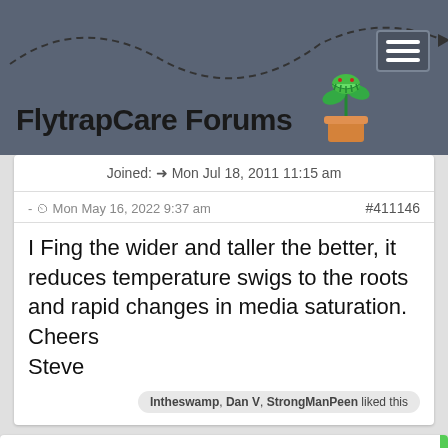FlytrapCare Forums
Joined: Mon Jul 18, 2011 11:15 am
- Mon May 16, 2022 9:37 am  #411146
I Fing the wider and taller the better, it reduces temperature swigs to the roots and rapid changes in media saturation.
Cheers
Steve
Intheswamp, Dan V, StrongManPeen liked this
RE: BEST POT SIZE FOR VFT.
By Dan V
Location:
Posts: 130